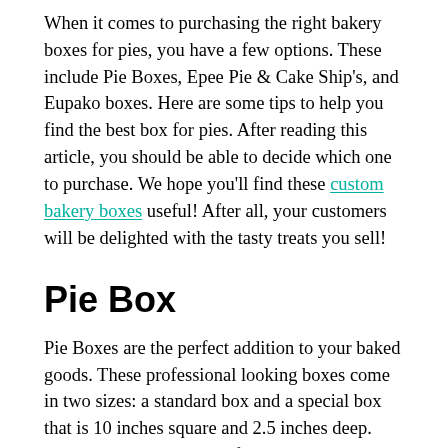When it comes to purchasing the right bakery boxes for pies, you have a few options. These include Pie Boxes, Epee Pie & Cake Ship's, and Eupako boxes. Here are some tips to help you find the best box for pies. After reading this article, you should be able to decide which one to purchase. We hope you'll find these custom bakery boxes useful! After all, your customers will be delighted with the tasty treats you sell!
Pie Box
Pie Boxes are the perfect addition to your baked goods. These professional looking boxes come in two sizes: a standard box and a special box that is 10 inches square and 2.5 inches deep. Each box is constructed of sturdy material and comes with windows for easy viewing of your delicious pies. They have no assembly required and are perfect for pies that are a little smaller than a